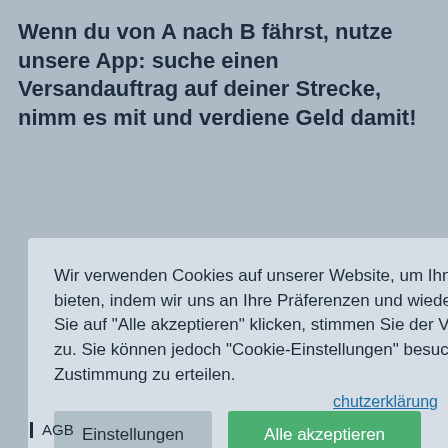Wenn du von A nach B fährst, nutze unsere App: suche einen Versandauftrag auf deiner Strecke, nimm es mit und verdiene Geld damit!
Wir verwenden Cookies auf unserer Website, um Ihnen das relevanteste Erlebnis zu bieten, indem wir uns an Ihre Präferenzen und wiederholten Besuche erinnern. Wenn Sie auf "Alle akzeptieren" klicken, stimmen Sie der Verwendung von ALLEN Cookies zu. Sie können jedoch "Cookie-Einstellungen" besuchen, um eine kontrollierte Zustimmung zu erteilen.
Einstellungen
Alle akzeptieren
chutzerklärung
| AGB